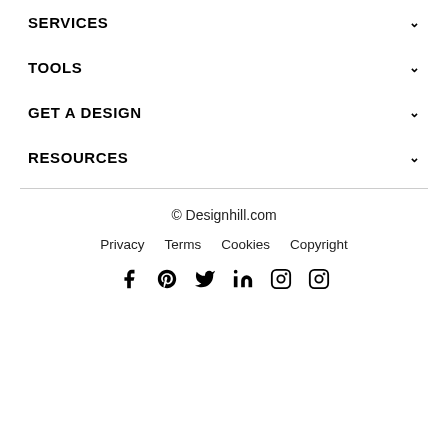SERVICES
TOOLS
GET A DESIGN
RESOURCES
© Designhill.com
Privacy  Terms  Cookies  Copyright